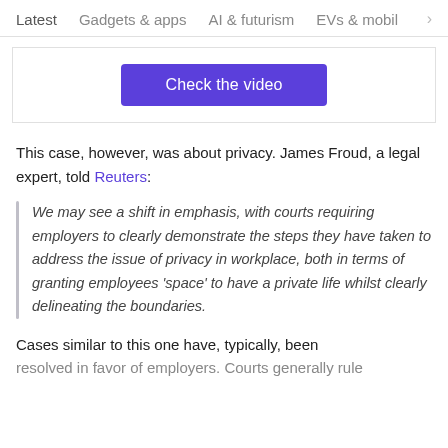Latest   Gadgets & apps   AI & futurism   EVs & mobil
[Figure (other): Check the video button (purple/indigo button)]
This case, however, was about privacy. James Froud, a legal expert, told Reuters:
We may see a shift in emphasis, with courts requiring employers to clearly demonstrate the steps they have taken to address the issue of privacy in workplace, both in terms of granting employees ‘space’ to have a private life whilst clearly delineating the boundaries.
Cases similar to this one have, typically, been resolved in favor of employers. Courts generally rule